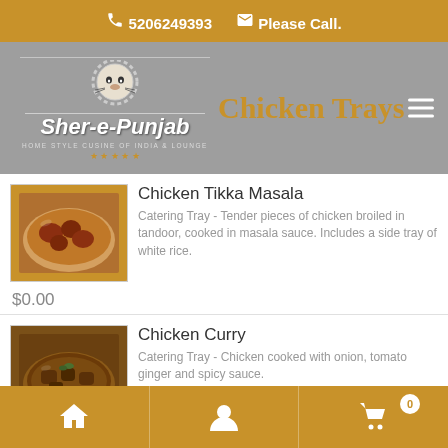5206249393   Please Call.
Chicken Trays
[Figure (logo): Sher-e-Punjab logo with lion head, text 'Sher-e-Punjab' and 'Home Style Cusine of India & Lounge' with stars]
Chicken Tikka Masala
[Figure (photo): Photo of Chicken Tikka Masala in a catering tray]
Catering Tray - Tender pieces of chicken broiled in tandoor, cooked in masala sauce. Includes a side tray of white rice.
$0.00
Chicken Curry
[Figure (photo): Photo of Chicken Curry in a catering tray]
Catering Tray - Chicken cooked with onion, tomato ginger and spicy sauce.
$0.00
Home | Account | Cart (0)